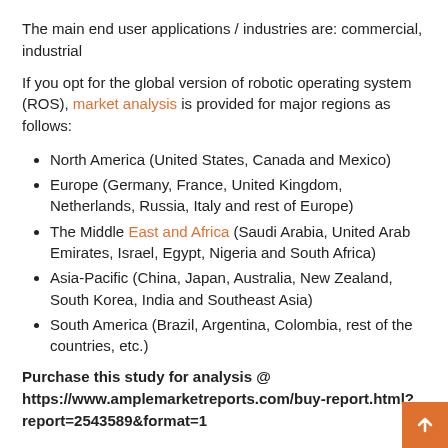The main end user applications / industries are: commercial, industrial
If you opt for the global version of robotic operating system (ROS), market analysis is provided for major regions as follows:
North America (United States, Canada and Mexico)
Europe (Germany, France, United Kingdom, Netherlands, Russia, Italy and rest of Europe)
The Middle East and Africa (Saudi Arabia, United Arab Emirates, Israel, Egypt, Nigeria and South Africa)
Asia-Pacific (China, Japan, Australia, New Zealand, South Korea, India and Southeast Asia)
South America (Brazil, Argentina, Colombia, rest of the countries, etc.)
Purchase this study for analysis @ https://www.amplemarketreports.com/buy-report.html?report=2543589&format=1